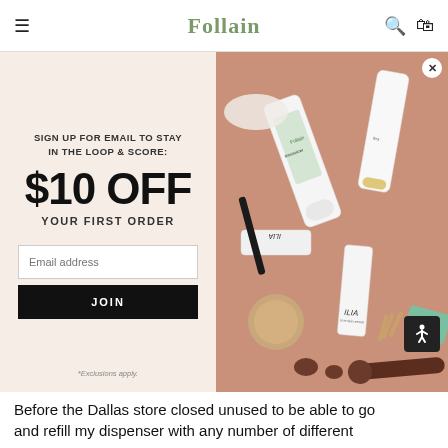Follain
SIGN UP FOR EMAIL TO STAY IN THE LOOP & SCORE:
$10 OFF
YOUR FIRST ORDER
Email address
JOIN
[Figure (photo): Flatlay of various beauty and skincare products including Follain Moisturizer, ILIA products, tubes, and applicators on a warm peachy-pink background]
*Exclusions apply.
Before the Dallas store closed unused to be able to go and refill my dispenser with any number of different